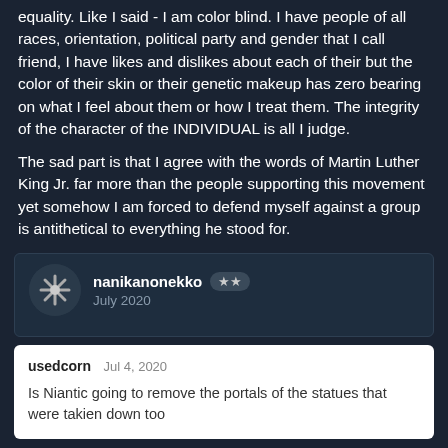equality. Like I said - I am color blind. I have people of all races, orientation, political party and gender that I call friend, I have likes and dislikes about each of their but the color of their skin or their genetic makeup has zero bearing on what I feel about them or how I treat them. The integrity of the character of the INDIVIDUAL is all I judge.
The sad part is that I agree with the words of Martin Luther King Jr. far more than the people supporting this movement yet somehow I am forced to defend myself against a group is antithetical to everything he stood for.
nanikanonekko ★★ July 2020
usedcorn Jul 4, 2020
Is Niantic going to remove the portals of the statues that were takien down too